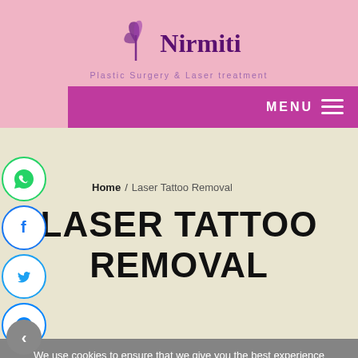[Figure (logo): Nirmiti logo with purple butterfly icon and brand name in purple serif font on pink background]
MENU ≡
[Figure (infographic): Social media buttons: WhatsApp, Facebook, Twitter, Messenger circles on left side]
Home / Laser Tattoo Removal
LASER TATTOO REMOVAL
We use cookies to ensure that we give you the best experience on our website. If you continue to use this site we will assume that you are happy with it.
LASER TATTOO